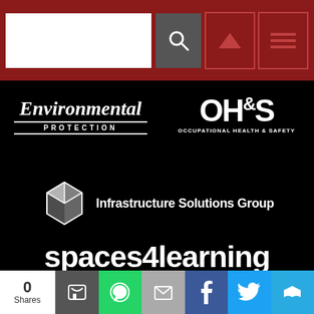[Figure (screenshot): Website navigation bar with search box, search button, and two nav buttons on dark red background]
[Figure (logo): Environmental Protection magazine logo - white text on black background]
[Figure (logo): OH&S Occupational Health & Safety magazine logo - white text on black background]
[Figure (logo): Infrastructure Solutions Group logo with cube icon - white on black]
[Figure (logo): spaces4learning logo in white bold text on black background]
[Figure (logo): Campus Security & Life Safety logo in white text on black background]
[Figure (screenshot): Social share bar with share count (0 Shares) and buttons for SMS, WhatsApp, Email, Facebook, Twitter, and Crown (Flipboard)]